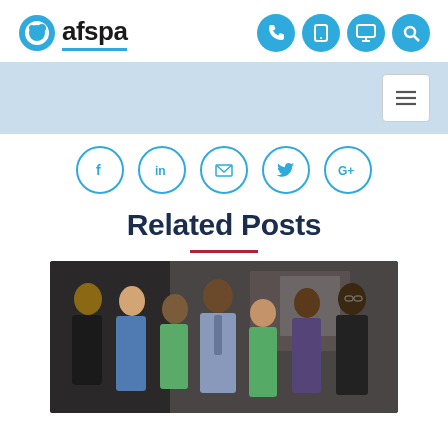[Figure (logo): AFSPA logo with blue circle icon and text 'afspa' underlined in blue, with four blue circle icons (phone, tablet, monitor, search) on the right]
[Figure (infographic): Light blue navigation bar with hamburger/menu button on the right]
[Figure (infographic): Social media share icons in blue circle outlines: Facebook, LinkedIn, Email, Twitter, Google+]
Related Posts
[Figure (photo): Group photo of seven people standing together, several wearing green tops, one man in a plaid shirt and tie, posed indoors]